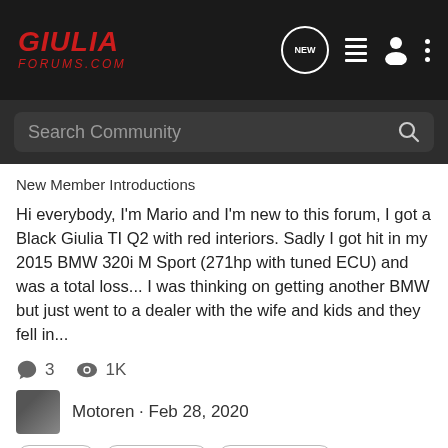GiuliaForums.com navigation bar with search
New Member Introductions
Hi everybody, I'm Mario and I'm new to this forum, I got a Black Giulia TI Q2 with red interiors. Sadly I got hit in my 2015 BMW 320i M Sport (271hp with tuned ECU) and was a total loss... I was thinking on getting another BMW but just went to a dealer with the wife and kids and they fell in...
3 comments · 1K views · Motoren · Feb 28, 2020
Tags: dna race, giulia ti sport, multiecuscan, traction control
1-8 of 8 Results